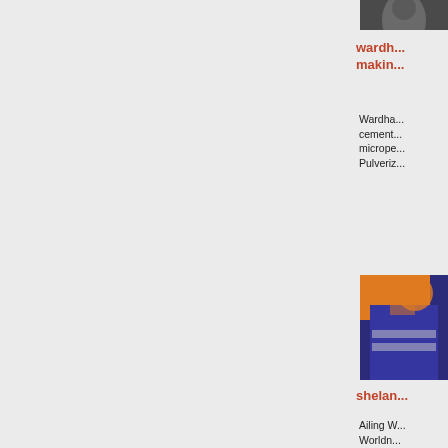[Figure (photo): Portrait photo partially visible at top right corner]
wardh... makin...
Wardha... cement... micrope... Pulveriz...
[Figure (photo): Worker in blue safety jacket with orange hard hat, industrial setting]
shelan...
Ailing W... Worldn... crusher...